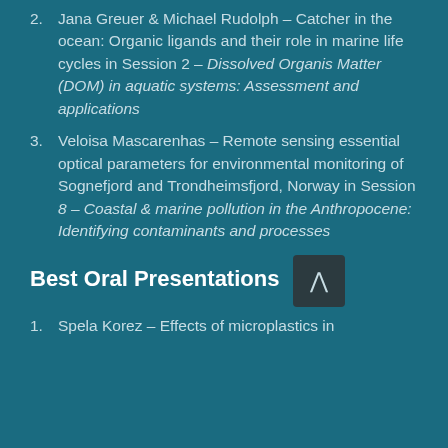2. Jana Greuer & Michael Rudolph – Catcher in the ocean: Organic ligands and their role in marine life cycles in Session 2 – Dissolved Organis Matter (DOM) in aquatic systems: Assessment and applications
3. Veloisa Mascarenhas – Remote sensing essential optical parameters for environmental monitoring of Sognefjord and Trondheimsfjord, Norway in Session 8 – Coastal & marine pollution in the Anthropocene: Identifying contaminants and processes
Best Oral Presentations
1. Spela Korez – Effects of microplastics in